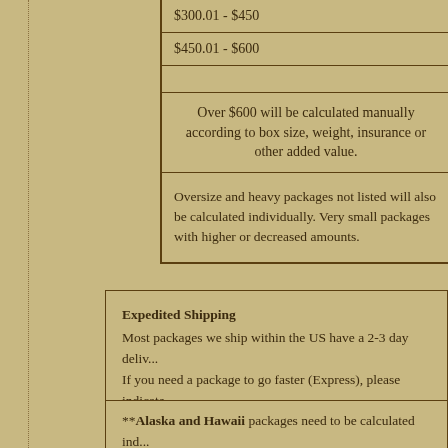| $300.01 - $450 |
| $450.01 - $600 |
|  |
| Over $600 will be calculated manually according to box size, weight, insurance or other added value. |
| Oversize and heavy packages not listed will also be calculated individually. Very small packages with higher or decreased amounts. |
Expedited Shipping
Most packages we ship within the US have a 2-3 day delivery time. If you need a package to go faster (Express), please indicate and we will try to get your package out to meet your needs.
* Timing set by USPS, but this may vary.
**Alaska and Hawaii packages need to be calculated individually to see what your shipping rate will be.